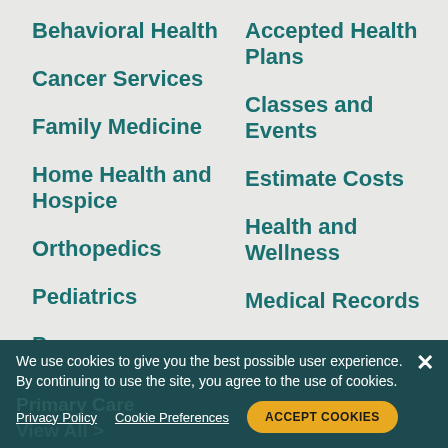Behavioral Health
Cancer Services
Family Medicine
Home Health and Hospice
Orthopedics
Pediatrics
Pregnancy
Accepted Health Plans
Classes and Events
Estimate Costs
Health and Wellness
Medical Records
Medicare Advantage
My Health Online
Pay a Bill
We use cookies to give you the best possible user experience. By continuing to use the site, you agree to the use of cookies.
Privacy Policy   Cookie Preferences   ACCEPT COOKIES